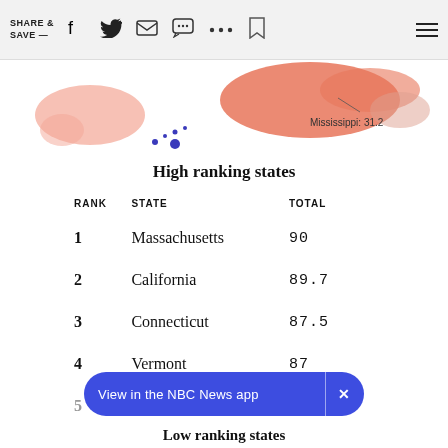SHARE & SAVE —
[Figure (map): Partial US map showing states colored in shades of pink/red indicating rankings. Mississippi is labeled with value 31.2. Hawaii shown in blue at lower left.]
High ranking states
| RANK | STATE | TOTAL |
| --- | --- | --- |
| 1 | Massachusetts | 90 |
| 2 | California | 89.7 |
| 3 | Connecticut | 87.5 |
| 4 | Vermont | 87 |
| 5 | Rhode Island |  |
View in the NBC News app
Low ranking states